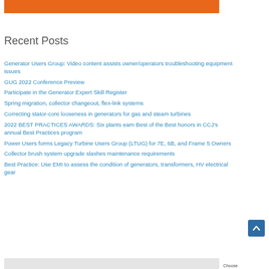[Figure (other): Orange horizontal bar at top of page]
Recent Posts
Generator Users Group: Video content assists owner/operators troubleshooting equipment issues
GUG 2022 Conference Preview
Participate in the Generator Expert Skill Register
Spring migration, collector changeout, flex-link systems
Correcting stator-core looseness in generators for gas and steam turbines
2022 BEST PRACTICES AWARDS: Six plants earn Best of the Best honors in CCJ's annual Best Practices program
Power Users forms Legacy Turbine Users Group (LTUG) for 7E, 6B, and Frame 5 Owners
Collector brush system upgrade slashes maintenance requirements
Best Practice: Use EMI to assess the condition of generators, transformers, HV electrical gear
[Figure (other): Scroll-to-top button (blue square with up arrow)]
[Figure (other): Partial gray/white bar at bottom of page]